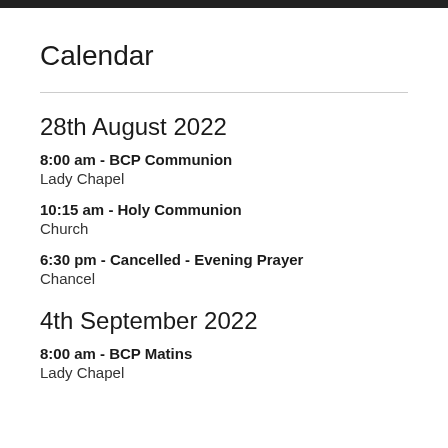Calendar
28th August 2022
8:00 am - BCP Communion
Lady Chapel
10:15 am - Holy Communion
Church
6:30 pm - Cancelled - Evening Prayer
Chancel
4th September 2022
8:00 am - BCP Matins
Lady Chapel